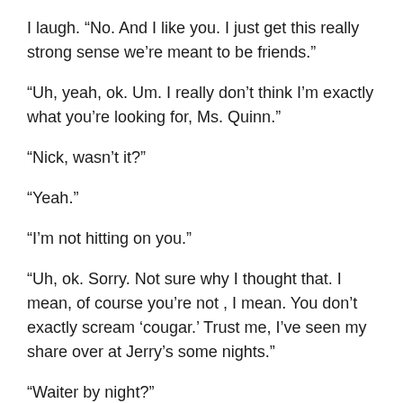I laugh.  “No.  And I like you.  I just get this really strong sense we’re meant to be friends.”
“Uh, yeah, ok.  Um.  I really don’t think I’m exactly what you’re looking for, Ms. Quinn.”
“Nick, wasn’t it?”
“Yeah.”
“I’m not hitting on you.”
“Uh, ok.  Sorry.  Not sure why I thought that.  I mean, of course you’re not , I mean.  You don’t exactly scream ‘cougar.’  Trust me, I’ve seen my share over at Jerry’s some nights.”
“Waiter by night?”